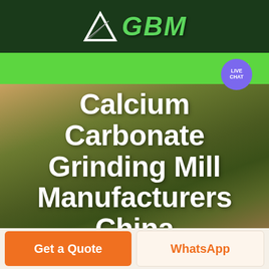[Figure (logo): GBM company logo with white arrow/mountain graphic and green italic bold GBM text on dark green background]
[Figure (screenshot): Green navigation bar with hamburger menu icon and purple live chat speech bubble button]
[Figure (photo): Aerial photo of agricultural fields with warm golden-green tones serving as hero background]
Calcium Carbonate Grinding Mill Manufacturers China
Get a Quote
WhatsApp